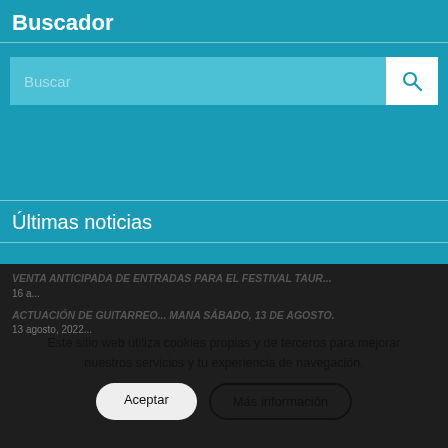Buscador
[Figure (screenshot): Search bar with placeholder text 'Buscar' and a teal background, with a white search button on the right containing a magnifying glass icon]
Últimas noticias
Comunicado de Alcaldía, 19 de Agosto.
19 agosto, 2022 - 2:05 pm
VENTA ANTICIPADA DE ENTRADAS PARA EL FESTIVAL TAUR...
16 a...
ACTUACIÓN DE GUITARREO... MANA SÁBADO, 13 DE AGOSTO.
13 agosto, 2022...
Este sitio web utiliza cookies propias y de terceros para mejorar nuestros servicios y tu experiencia de navegación.
Aceptar
Más información